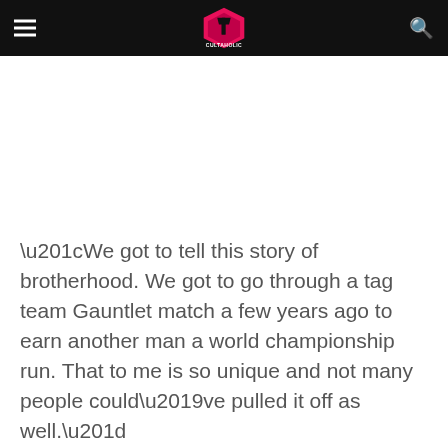CULTAHOLIC
“We got to tell this story of brotherhood. We got to go through a tag team Gauntlet match a few years ago to earn another man a world championship run. That to me is so unique and not many people could’ve pulled it off as well.”